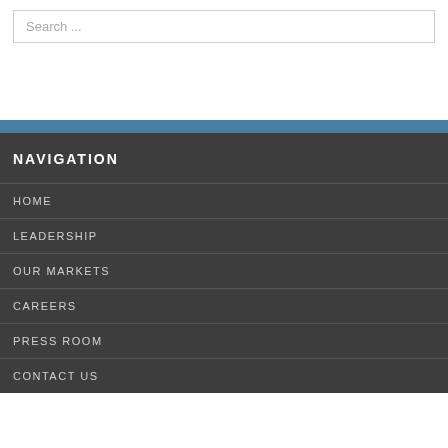Search ...
NAVIGATION
HOME
LEADERSHIP
OUR MARKETS
CAREERS
PRESS ROOM
CONTACT US